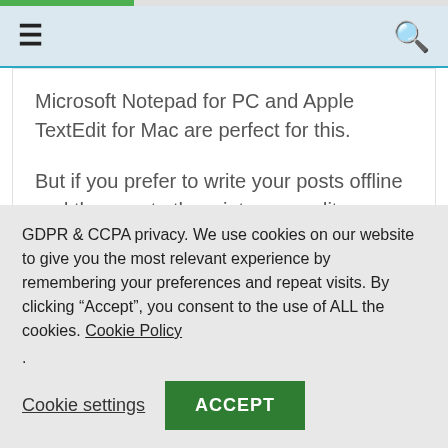☰  🔍
Microsoft Notepad for PC and Apple TextEdit for Mac are perfect for this.
But if you prefer to write your posts offline and then paste them into your editor, you can use any free word processor.
GDPR & CCPA privacy. We use cookies on our website to give you the most relevant experience by remembering your preferences and repeat visits. By clicking "Accept", you consent to the use of ALL the cookies. Cookie Policy
.
Cookie settings   ACCEPT